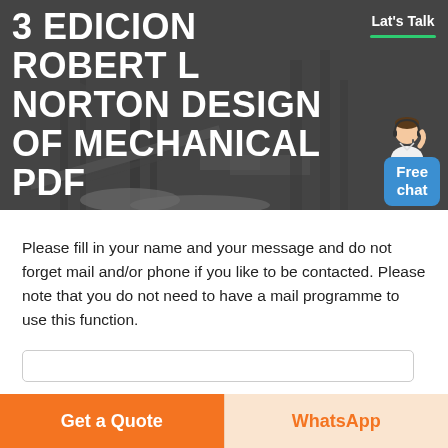[Figure (photo): Hero banner image showing industrial/construction site equipment with dark overlay. Large bold white text overlay reads '3 EDICION ROBERT L NORTON DESIGN OF MECHANICAL PDF'. Top right has 'Lat's Talk' label with green underline. Bottom right has a chat agent illustration and 'Free chat' blue button.]
Please fill in your name and your message and do not forget mail and/or phone if you like to be contacted. Please note that you do not need to have a mail programme to use this function.
[Figure (screenshot): Partial input box / form field visible at bottom of content area.]
Get a Quote
WhatsApp